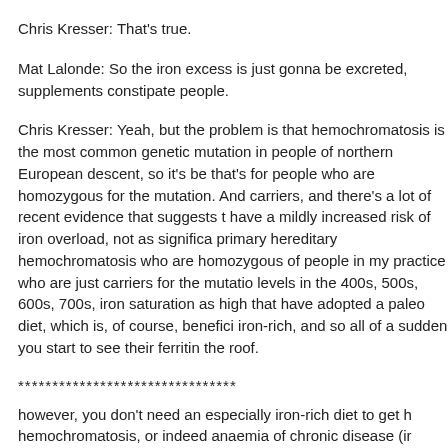Chris Kresser: That's true.
Mat Lalonde: So the iron excess is just gonna be excreted, supplements constipate people.
Chris Kresser: Yeah, but the problem is that hemochromatosis is the most common genetic mutation in people of northern European descent, so it's between 1 in 200 and 1 in 300, and that's for people who are homozygous for the mutation. And then there are a lot of carriers, and there's a lot of recent evidence that suggests that carriers also have a mildly increased risk of iron overload, not as significant as people with primary hereditary hemochromatosis who are homozygous, but I see a lot of people in my practice who are just carriers for the mutation who have ferritin levels in the 400s, 500s, 600s, 700s, iron saturation as high as 60%, 70%, that have adopted a paleo diet, which is, of course, beneficial but also somewhat iron-rich, and so all of a sudden you start to see their ferritin and iron going through the roof.
********************************
however, you don't need an especially iron-rich diet to get hemochromatosis, or indeed anaemia of chronic disease (iron deficiency anaemia).
June 13, 2012 at 3:33 PM